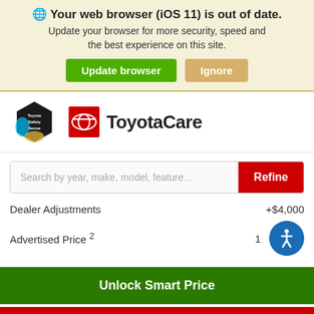🌐 Your web browser (iOS 11) is out of date. Update your browser for more security, speed and the best experience on this site.
Update browser | Ignore
[Figure (logo): Toyota Safety Sense hexagon logo and ToyotaCare logo with red Toyota emblem]
Search by year, make, model, feature... Refine
Dealer Adjustments +$4,000
Advertised Price 2 [partially obscured by accessibility icon]
Unlock Smart Price
Estimate Payments
Check Availability